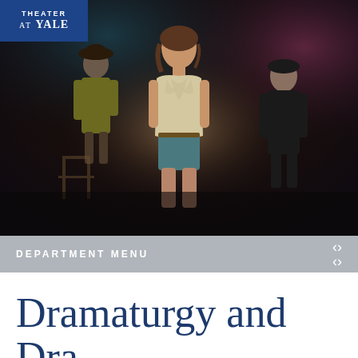[Figure (photo): Theater stage photo with three performers. Center foreground: young woman in cream ruffled blouse and teal shorts. Left background: woman in olive green dress and dark hat. Right background: person in dark jacket. Stage has moody blue and purple lighting.]
Theater at Yale
DEPARTMENT MENU
Dramaturgy and Dra...